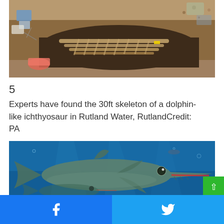[Figure (photo): Aerial/overhead view of an archaeological excavation site showing a long fossil skeleton embedded in a trench of soil, with tools, buckets, and equipment visible around the dig site]
5
Experts have found the 30ft skeleton of a dolphin-like ichthyosaur in Rutland Water, RutlandCredit: PA
[Figure (illustration): Artistic illustration of an ichthyosaur swimming underwater, depicted as a large dolphin-like marine reptile with a long pointed snout and streamlined body in blue water]
Facebook share  Twitter share